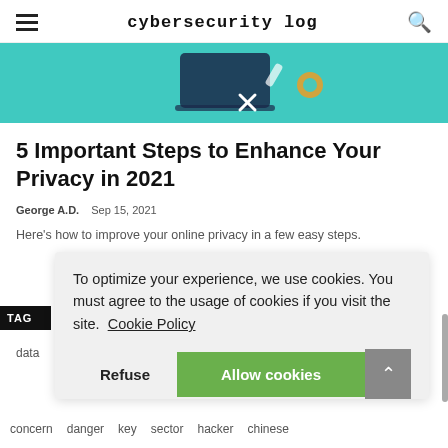cybersecurity log
[Figure (illustration): Teal/turquoise banner with security-themed icons including tools and a gear on a dark device]
5 Important Steps to Enhance Your Privacy in 2021
George A.D.   Sep 15, 2021
Here's how to improve your online privacy in a few easy steps.
To optimize your experience, we use cookies. You must agree to the usage of cookies if you visit the site.  Cookie Policy
Refuse   Allow cookies
TAG
data
concern   danger   key   sector   hacker   chinese